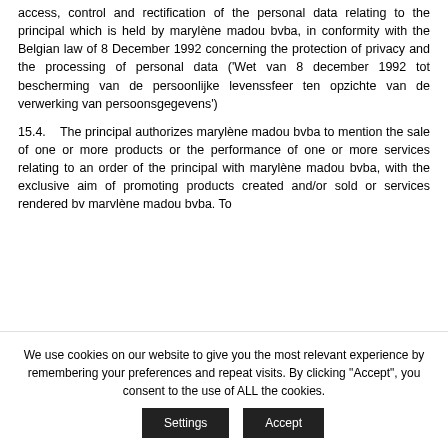access, control and rectification of the personal data relating to the principal which is held by marylène madou bvba, in conformity with the Belgian law of 8 December 1992 concerning the protection of privacy and the processing of personal data ('Wet van 8 december 1992 tot bescherming van de persoonlijke levenssfeer ten opzichte van de verwerking van persoonsgegevens')
15.4.   The principal authorizes marylène madou bvba to mention the sale of one or more products or the performance of one or more services relating to an order of the principal with marylène madou bvba, with the exclusive aim of promoting products created and/or sold or services rendered bv marvlène madou bvba. To
We use cookies on our website to give you the most relevant experience by remembering your preferences and repeat visits. By clicking "Accept", you consent to the use of ALL the cookies.